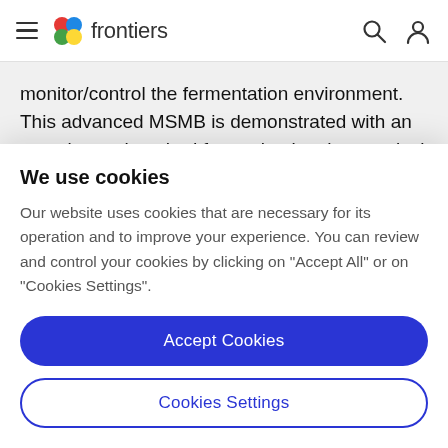frontiers
monitor/control the fermentation environment. This advanced MSMB is demonstrated with an experimental method for evaluating three typical species of lactic acid bacteria (LAB), Lentilactobacillus buchneri (LB) alone, and LB mixed with Lactiplantibacillus plantarum
We use cookies
Our website uses cookies that are necessary for its operation and to improve your experience. You can review and control your cookies by clicking on "Accept All" or on "Cookies Settings".
Accept Cookies
Cookies Settings